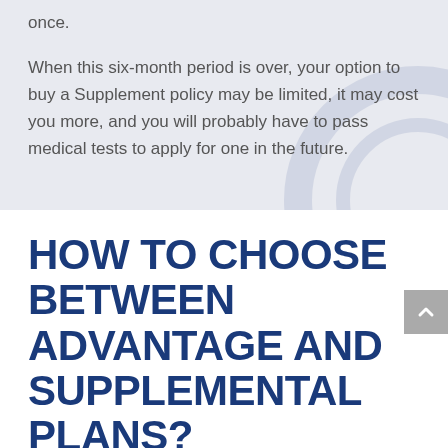once.
When this six-month period is over, your option to buy a Supplement policy may be limited, it may cost you more, and you will probably have to pass medical tests to apply for one in the future.
HOW TO CHOOSE BETWEEN ADVANTAGE AND SUPPLEMENTAL PLANS?